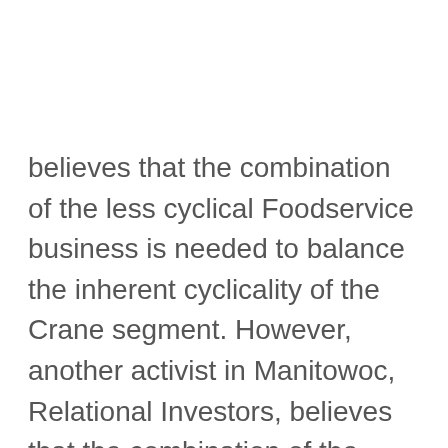believes that the combination of the less cyclical Foodservice business is needed to balance the inherent cyclicality of the Crane segment. However, another activist in Manitowoc, Relational Investors, believes that the combination of the Foodservice and Crane segments causes the stock to trade at a perpetual discount. The firm sees Manitowoc continuing to trade at a discount due to widely divergent business